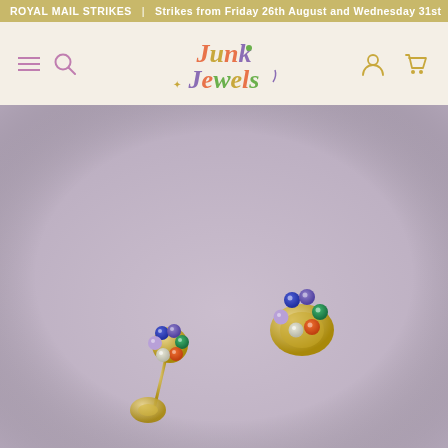ROYAL MAIL STRIKES | Strikes from Friday 26th August and Wednesday 31st
[Figure (logo): Junk Jewels logo in colorful retro typography]
[Figure (photo): Two gold stud earrings with multicolored gemstone flower clusters (blue, purple, green, orange, white stones) on a mauve/lavender background. One earring shows the front face, the other shows the post and butterfly back.]